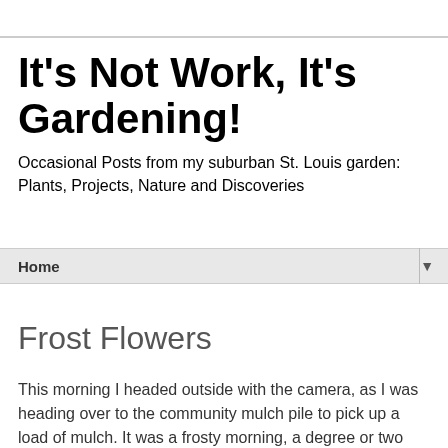It's Not Work, It's Gardening!
Occasional Posts from my suburban St. Louis garden: Plants, Projects, Nature and Discoveries
Home ▼
Monday, November 29, 2010
Frost Flowers
This morning I headed outside with the camera, as I was heading over to the community mulch pile to pick up a load of mulch. It was a frosty morning, a degree or two below freezing. I only walked out of the garage for a moment, but